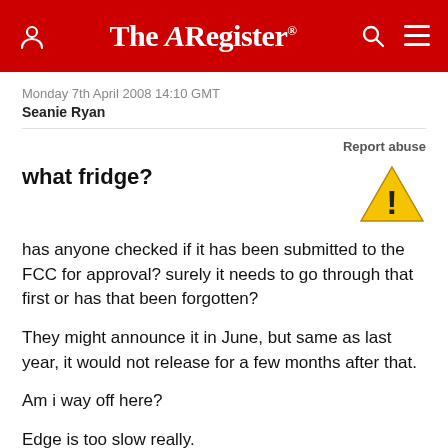The Register
Monday 7th April 2008 14:10 GMT
Seanie Ryan
Report abuse
what fridge?
[Figure (illustration): Yellow warning triangle with exclamation mark icon]
has anyone checked if it has been submitted to the FCC for approval? surely it needs to go through that first or has that been forgotten?

They might announce it in June, but same as last year, it would not release for a few months after that.

Am i way off here?

Edge is too slow really.

I am now , for the first time ever, able to go home/holidays without my laptop and still do all the sys admin i ever need to do on the iphone, and all the